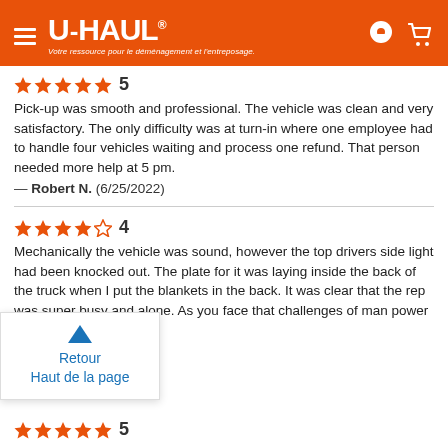U-HAUL — Votre ressource pour le déménagement et l'entreposage.
★★★★★ 5
Pick-up was smooth and professional. The vehicle was clean and very satisfactory. The only difficulty was at turn-in where one employee had to handle four vehicles waiting and process one refund. That person needed more help at 5 pm.
— Robert N. (6/25/2022)
★★★★☆ 4
Mechanically the vehicle was sound, however the top drivers side light had been knocked out. The plate for it was laying inside the back of the truck when I put the blankets in the back. It was clear that the rep was super busy and alone. As you face that challenges of man power issues I understand.
(6/...2022)
Retour
Haut de la page
★★★★★ 5